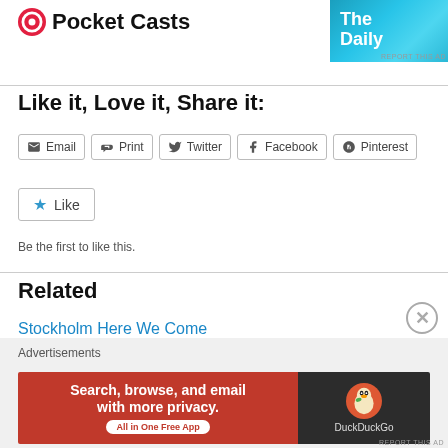[Figure (logo): Pocket Casts logo with circular red icon and bold text 'Pocket Casts']
[Figure (screenshot): Partial advertisement banner on top right, appears to be a blue daily news ad]
Like it, Love it, Share it:
[Figure (other): Row of share buttons: Email, Print, Twitter, Facebook, Pinterest]
[Figure (other): Like button with star icon]
Be the first to like this.
Related
Stockholm Here We Come
September 14, 2012
In "Expat Life"
Advertisements
[Figure (other): DuckDuckGo advertisement: 'Search, browse, and email with more privacy. All in One Free App' with DuckDuckGo duck logo on dark background]